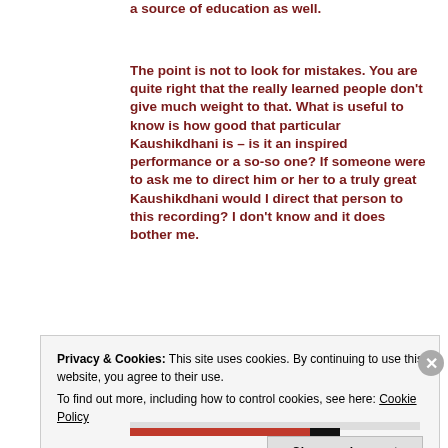a source of education as well.
The point is not to look for mistakes. You are quite right that the really learned people don't give much weight to that. What is useful to know is how good that particular Kaushikdhani is – is it an inspired performance or a so-so one? If someone were to ask me to direct him or her to a truly great Kaushikdhani would I direct that person to this recording? I don't know and it does bother me.
The…
Privacy & Cookies: This site uses cookies. By continuing to use this website, you agree to their use.
To find out more, including how to control cookies, see here: Cookie Policy